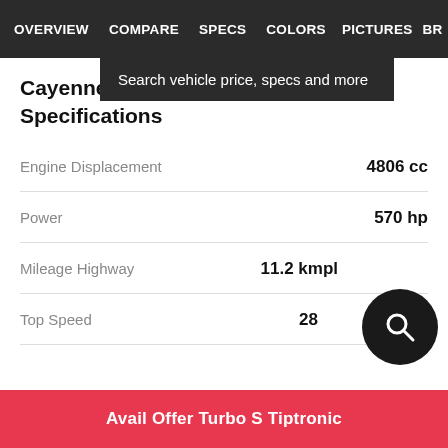OVERVIEW  COMPARE  SPECS  COLORS  PICTURES  BR
Search vehicle price, specs and more
Cayenne Turbo S Tiptronic Technical Specifications
| Spec | Value |
| --- | --- |
| Engine Displacement | 4806 cc |
| Power | 570 hp |
| Mileage Highway | 11.2 kmpl |
| Top Speed | 28… |
Avail Offer Turbo S Tiptronic